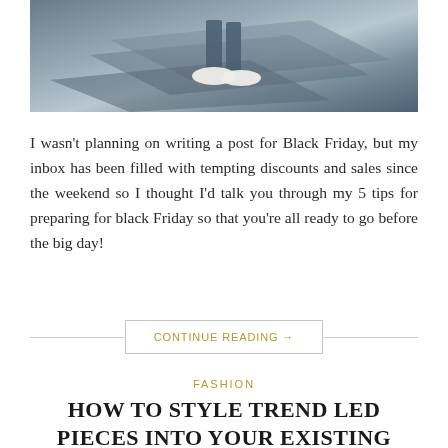[Figure (photo): Person sitting on steps wearing white sneakers and jeans, viewed from below/side angle]
I wasn't planning on writing a post for Black Friday, but my inbox has been filled with tempting discounts and sales since the weekend so I thought I'd talk you through my 5 tips for preparing for black Friday so that you're all ready to go before the big day!
CONTINUE READING →
FASHION
HOW TO STYLE TREND LED PIECES INTO YOUR EXISTING WARDROBE